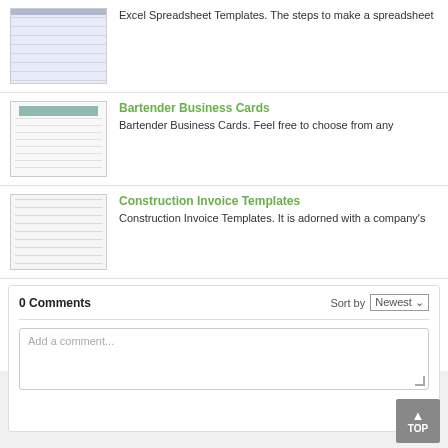Excel Spreadsheet Templates. The steps to make a spreadsheet
Bartender Business Cards. Feel free to choose from any
Construction Invoice Templates. It is adorned with a company's
Workflow Documentation Template. 11/06/2021 · the workflow templates page opens. As you think
0 Comments  Sort by Newest
Add a comment...